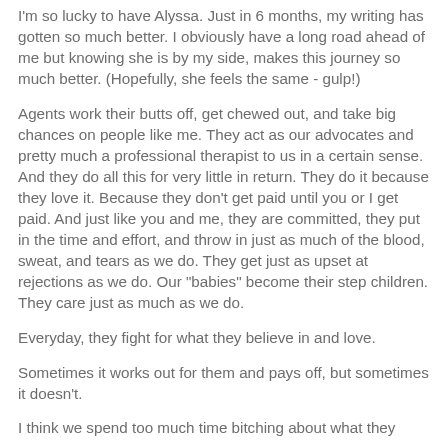I'm so lucky to have Alyssa. Just in 6 months, my writing has gotten so much better. I obviously have a long road ahead of me but knowing she is by my side, makes this journey so much better. (Hopefully, she feels the same - gulp!)
Agents work their butts off, get chewed out, and take big chances on people like me. They act as our advocates and pretty much a professional therapist to us in a certain sense. And they do all this for very little in return. They do it because they love it. Because they don't get paid until you or I get paid. And just like you and me, they are committed, they put in the time and effort, and throw in just as much of the blood, sweat, and tears as we do. They get just as upset at rejections as we do. Our "babies" become their step children. They care just as much as we do.
Everyday, they fight for what they believe in and love.
Sometimes it works out for them and pays off, but sometimes it doesn't.
I think we spend too much time bitching about what they